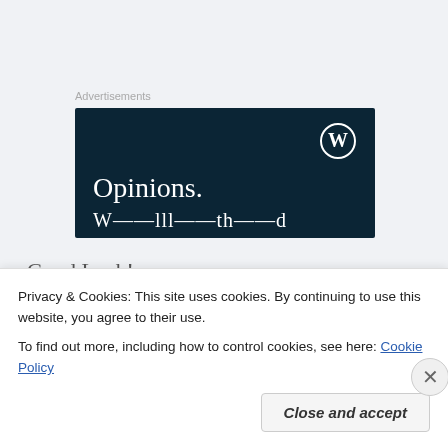Advertisements
[Figure (other): WordPress advertisement banner with dark navy background showing 'Opinions.' text in white serif font and WordPress logo icon in top right corner, with partially visible text at the bottom]
Good Luck!
Privacy & Cookies: This site uses cookies. By continuing to use this website, you agree to their use.
To find out more, including how to control cookies, see here: Cookie Policy
Close and accept